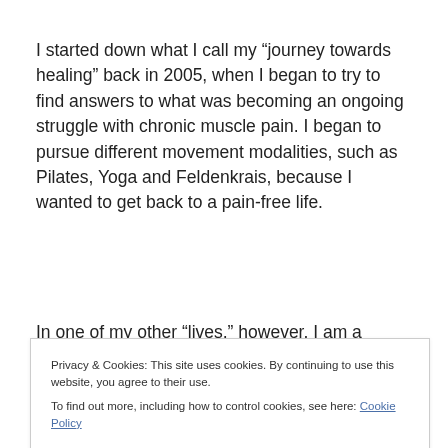I started down what I call my “journey towards healing” back in 2005, when I began to try to find answers to what was becoming an ongoing struggle with chronic muscle pain. I began to pursue different movement modalities, such as Pilates, Yoga and Feldenkrais, because I wanted to get back to a pain-free life.
In one of my other “lives,” however, I am a singer and a
Privacy & Cookies: This site uses cookies. By continuing to use this website, you agree to their use.
To find out more, including how to control cookies, see here: Cookie Policy